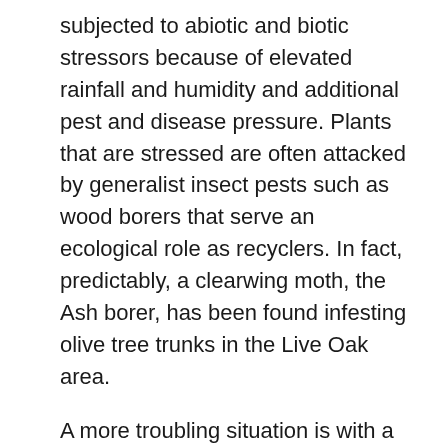subjected to abiotic and biotic stressors because of elevated rainfall and humidity and additional pest and disease pressure. Plants that are stressed are often attacked by generalist insect pests such as wood borers that serve an ecological role as recyclers. In fact, predictably, a clearwing moth, the Ash borer, has been found infesting olive tree trunks in the Live Oak area.
A more troubling situation is with a known insect-spread plant pathogen, Xylella fastidiosa, that has manifested itself as a major pest and tree killer in Italy (known there as olive quick decline syndrome). Xylella fastidiosa is a bacterium that resides in the plant xylem tissue. It is transmitted almost